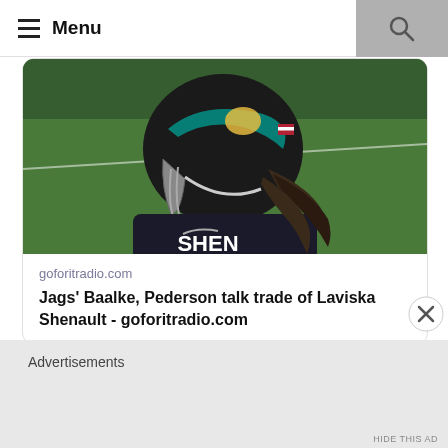Menu
[Figure (photo): Jacksonville Jaguars football player wearing a Shenault jersey and helmet with jaguar logo, seen from behind on a football field]
goforitradio.com
Jags' Baalke, Pederson talk trade of Laviska Shenault - goforitradio.com
Advertisements